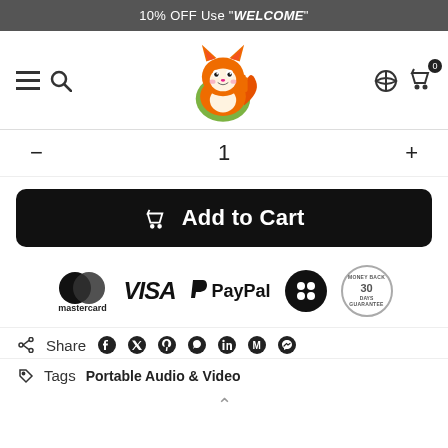10% OFF Use "WELCOME"
[Figure (logo): Fox mascot logo for e-commerce store]
- 1 +
Add to Cart
[Figure (infographic): Payment method logos: Mastercard, VISA, PayPal, 30-day money back guarantee badge]
Share (social icons: Facebook, Twitter, Pinterest, WhatsApp, LinkedIn, Gmail, Messenger)
Tags   Portable Audio & Video